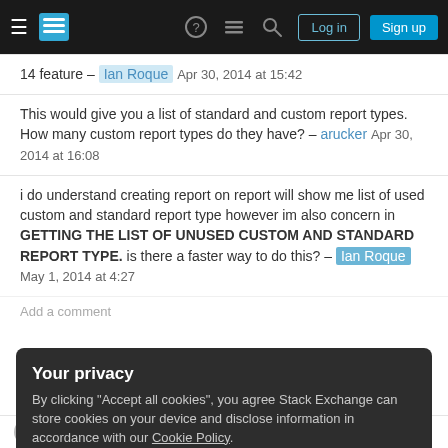Stack Exchange navigation bar with Log in and Sign up buttons
14 feature – Ian Roque Apr 30, 2014 at 15:42
This would give you a list of standard and custom report types. How many custom report types do they have? – arucker Apr 30, 2014 at 16:08
i do understand creating report on report will show me list of used custom and standard report type however im also concern in GETTING THE LIST OF UNUSED CUSTOM AND STANDARD REPORT TYPE. is there a faster way to do this? – Ian Roque May 1, 2014 at 4:27
Add a comment
Your privacy
By clicking "Accept all cookies", you agree Stack Exchange can store cookies on your device and disclose information in accordance with our Cookie Policy.
Accept all cookies
Customize settings
what is never used but the last time there was a